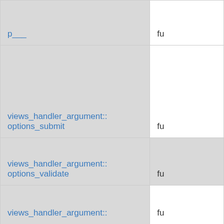| p___ | fu |
| views_handler_argument::
options_submit | fu |
| views_handler_argument::
options_validate | fu |
| views_handler_argument:: | fu |